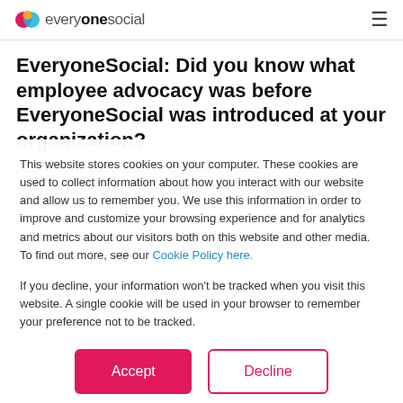everyonesocial
EveryoneSocial: Did you know what employee advocacy was before EveryoneSocial was introduced at your organization?
I did know about employee advocacy before
This website stores cookies on your computer. These cookies are used to collect information about how you interact with our website and allow us to remember you. We use this information in order to improve and customize your browsing experience and for analytics and metrics about our visitors both on this website and other media. To find out more, see our Cookie Policy here.
If you decline, your information won't be tracked when you visit this website. A single cookie will be used in your browser to remember your preference not to be tracked.